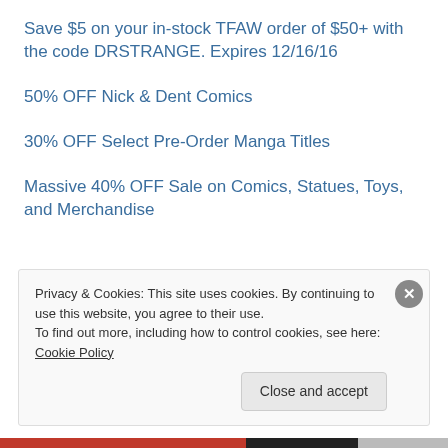Save $5 on your in-stock TFAW order of $50+ with the code DRSTRANGE. Expires 12/16/16
50% OFF Nick & Dent Comics
30% OFF Select Pre-Order Manga Titles
Massive 40% OFF Sale on Comics, Statues, Toys, and Merchandise
Privacy & Cookies: This site uses cookies. By continuing to use this website, you agree to their use. To find out more, including how to control cookies, see here: Cookie Policy
Close and accept